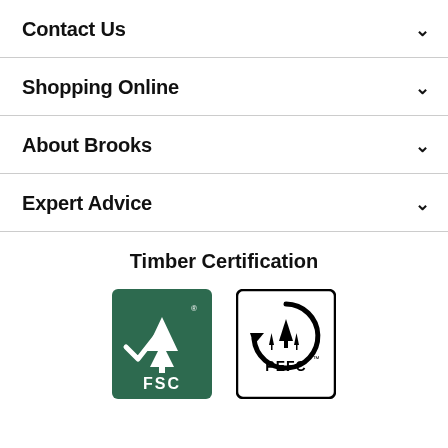Contact Us
Shopping Online
About Brooks
Expert Advice
Timber Certification
[Figure (logo): FSC (Forest Stewardship Council) certification logo — white tree and checkmark on dark green background with 'FSC' text]
[Figure (logo): PEFC (Programme for the Endorsement of Forest Certification) logo — circular recycling arrow with trees inside, black on white, with 'PEFC' text]